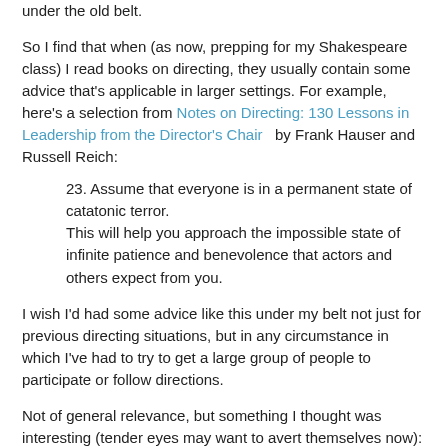under the old belt.
So I find that when (as now, prepping for my Shakespeare class) I read books on directing, they usually contain some advice that's applicable in larger settings. For example, here's a selection from Notes on Directing: 130 Lessons in Leadership from the Director's Chair by Frank Hauser and Russell Reich:
23. Assume that everyone is in a permanent state of catatonic terror.
This will help you approach the impossible state of infinite patience and benevolence that actors and others expect from you.
I wish I'd had some advice like this under my belt not just for previous directing situations, but in any circumstance in which I've had to try to get a large group of people to participate or follow directions.
Not of general relevance, but something I thought was interesting (tender eyes may want to avert themselves now):